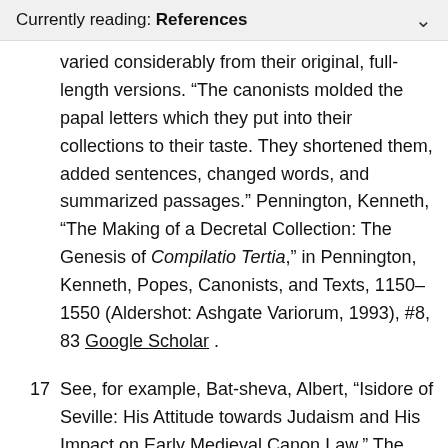Currently reading: References
varied considerably from their original, full-length versions. “The canonists molded the papal letters which they put into their collections to their taste. They shortened them, added sentences, changed words, and summarized passages.” Pennington, Kenneth, “The Making of a Decretal Collection: The Genesis of Compilatio Tertia,” in Pennington, Kenneth, Popes, Canonists, and Texts, 1150–1550 (Aldershot: Ashgate Variorum, 1993), #8, 83 Google Scholar .
17  See, for example, Bat-sheva, Albert, “Isidore of Seville: His Attitude towards Judaism and His Impact on Early Medieval Canon Law,” The Jewish Quarterly Review 80(3–4) (1990):